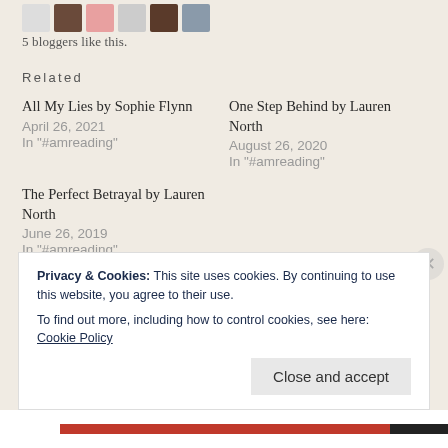5 bloggers like this.
Related
All My Lies by Sophie Flynn
April 26, 2021
In "#amreading"
One Step Behind by Lauren North
August 26, 2020
In "#amreading"
The Perfect Betrayal by Lauren North
June 26, 2019
In "#amreading"
Privacy & Cookies: This site uses cookies. By continuing to use this website, you agree to their use.
To find out more, including how to control cookies, see here: Cookie Policy